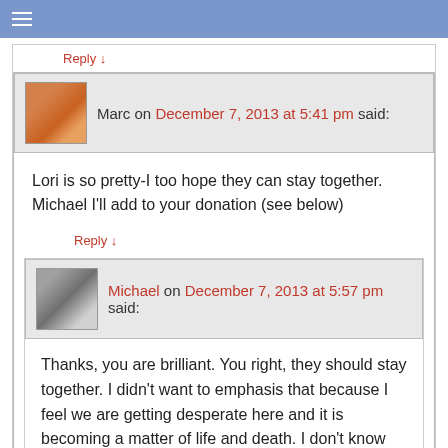≡
Reply ↓
Marc on December 7, 2013 at 5:41 pm said:
Lori is so pretty-I too hope they can stay together. Michael I'll add to your donation (see below)
Reply ↓
Michael on December 7, 2013 at 5:57 pm said:
Thanks, you are brilliant. You right, they should stay together. I didn't want to emphasis that because I feel we are getting desperate here and it is becoming a matter of life and death. I don't know how long the shelter will house him.
Reply ↓